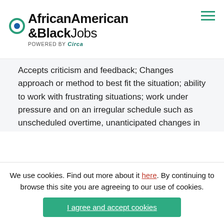AfricanAmerican &BlackJobs powered by Circa
Accepts criticism and feedback; Changes approach or method to best fit the situation; ability to work with frustrating situations; work under pressure and on an irregular schedule such as unscheduled overtime, unanticipated changes in work pace; Works with numerous distractions.
Attendance and Punctuality - Schedules time off in advance; Begins working on time; Keeps absences within guidelines; Ensures work responsibilities are covered when absent; Arrives at meetings and appointments on time.
We use cookies. Find out more about it here. By continuing to browse this site you are agreeing to our use of cookies.
I agree and accept cookies